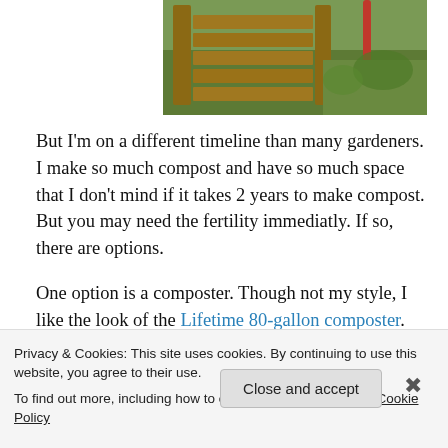[Figure (photo): Partial top view of a wooden compost bin structure in a grassy field with a red-handled tool visible.]
But I'm on a different timeline than many gardeners.  I make so much compost and have so much space that I don't mind if it takes 2 years to make compost.  But you may need the fertility immediatly.  If so, there are options.
One option is a composter.  Though not my style, I like the look of the Lifetime 80-gallon composter.
[Figure (photo): Broken image placeholder icon for a linked image (likely of the Lifetime 80-gallon composter).]
Privacy & Cookies: This site uses cookies. By continuing to use this website, you agree to their use.
To find out more, including how to control cookies, see here: Cookie Policy